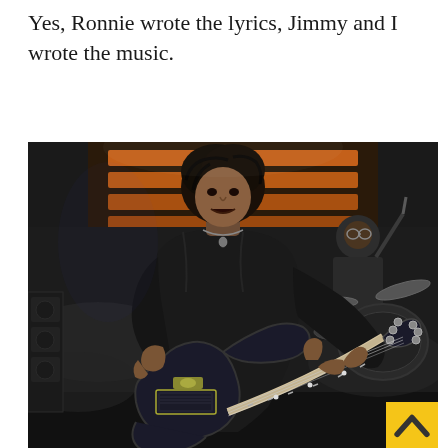Yes, Ronnie wrote the lyrics, Jimmy and I wrote the music.
[Figure (photo): A guitarist in a black leather jacket playing an electric guitar on stage, crouching dramatically. Behind him is a drummer visible in the background. Stage lights and equipment are visible.]
[Figure (other): Yellow back-to-top button with upward chevron arrow in bottom-right corner]